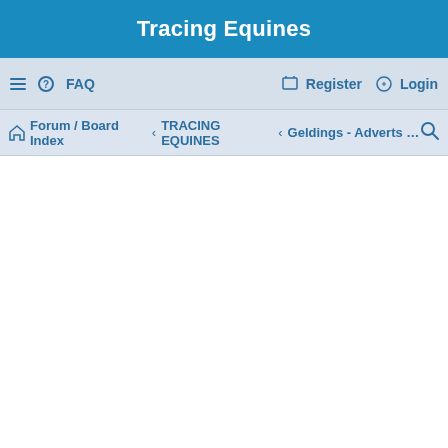Tracing Equines
FAQ   Register   Login
Forum / Board Index  ‹  TRACING EQUINES  ‹  Geldings - Adverts wi...